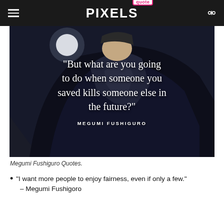quote PIXELS
[Figure (illustration): Dark anime-style illustration of Megumi Fushiguro with white cursive quote overlay text: '"But what are you going to do when someone you saved kills someone else in the future?"' and attribution 'MEGUMI FUSHIGURO']
Megumi Fushiguro Quotes.
"I want more people to enjoy fairness, even if only a few."
– Megumi Fushigoro